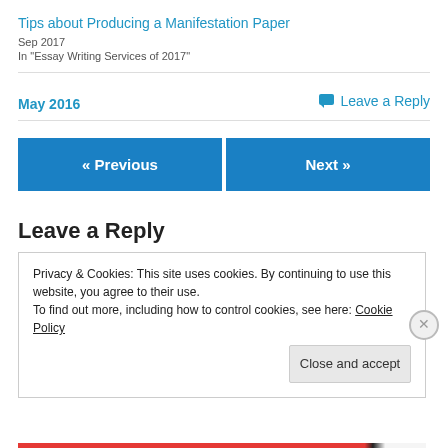Tips about Producing a Manifestation Paper
Sep 2017
In "Essay Writing Services of 2017"
May 2016
💬 Leave a Reply
« Previous
Next »
Leave a Reply
Privacy & Cookies: This site uses cookies. By continuing to use this website, you agree to their use.
To find out more, including how to control cookies, see here: Cookie Policy
Close and accept